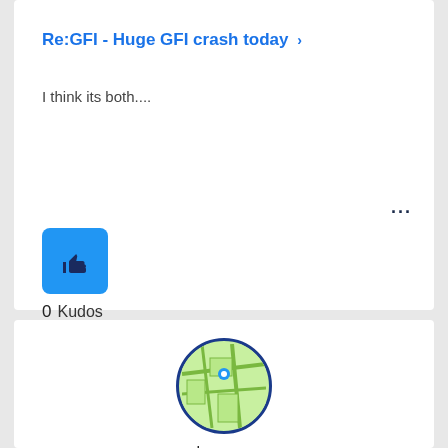Re:GFI - Huge GFI crash today
I think its both....
[Figure (illustration): Blue thumbs-up kudos button, square with rounded corners]
0 Kudos
[Figure (photo): Circular avatar with map/aerial image, dark blue border, username kwagga]
kwagga
super contributor